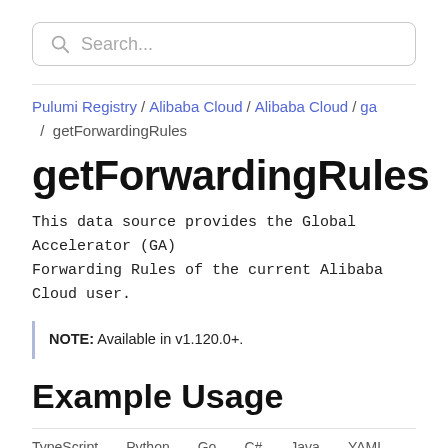Search...
Pulumi Registry / Alibaba Cloud / Alibaba Cloud / ga / getForwardingRules
getForwardingRules
This data source provides the Global Accelerator (GA) Forwarding Rules of the current Alibaba Cloud user.
NOTE: Available in v1.120.0+.
Example Usage
TypeScript  Python  Go  C#  Java  YAML